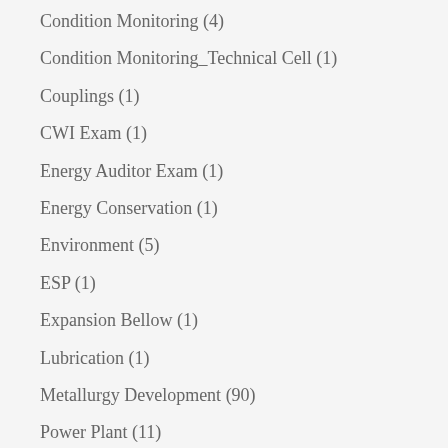Condition Monitoring (4)
Condition Monitoring_Technical Cell (1)
Couplings (1)
CWI Exam (1)
Energy Auditor Exam (1)
Energy Conservation (1)
Environment (5)
ESP (1)
Expansion Bellow (1)
Lubrication (1)
Metallurgy Development (90)
Power Plant (11)